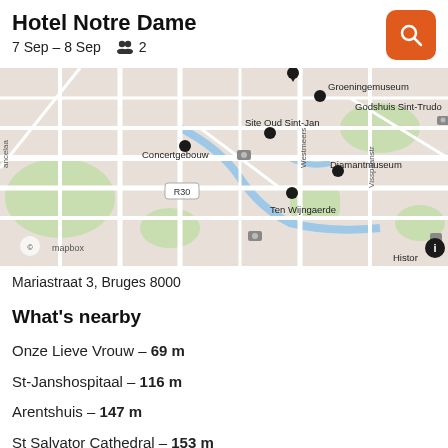Hotel Notre Dame
7 Sep – 8 Sep   👥 2
[Figure (map): Map showing Bruges city center with labeled landmarks: Groeningemuseum, Godshuis Sint-Trudo, Concertgebouw, Site Oud Sint-Jan, Diamantmuseum, Ten Wijngaerde, R30 road marker. Multiple black location pins visible. Mapbox attribution bottom left.]
Mariastraat 3, Bruges 8000
What's nearby
Onze Lieve Vrouw – 69 m
St-Janshospitaal – 116 m
Arentshuis – 147 m
St Salvator Cathedral – 153 m
Groeningemuseum – 216 m